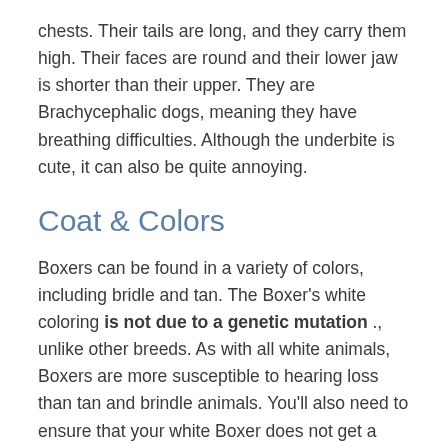chests. Their tails are long, and they carry them high. Their faces are round and their lower jaw is shorter than their upper. They are Brachycephalic dogs, meaning they have breathing difficulties. Although the underbite is cute, it can also be quite annoying.
Coat & Colors
Boxers can be found in a variety of colors, including bridle and tan. The Boxer's white coloring is not due to a genetic mutation ., unlike other breeds. As with all white animals, Boxers are more susceptible to hearing loss than tan and brindle animals. You'll also need to ensure that your white Boxer does not get a sunburn, which could lead to skin cancer.
They have a short and smooth coat and shed moderately.